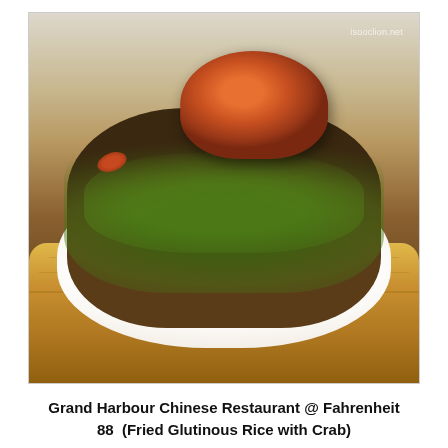[Figure (photo): A bamboo steamer dish containing Fried Glutinous Rice with Crab — a whole crab on top of fried glutinous rice, heavily garnished with chopped green scallions, served in a round wooden bamboo steamer basket. Watermark 'isooclion.net' visible in top-right of image.]
Grand Harbour Chinese Restaurant @ Fahrenheit 88  (Fried Glutinous Rice with Crab)